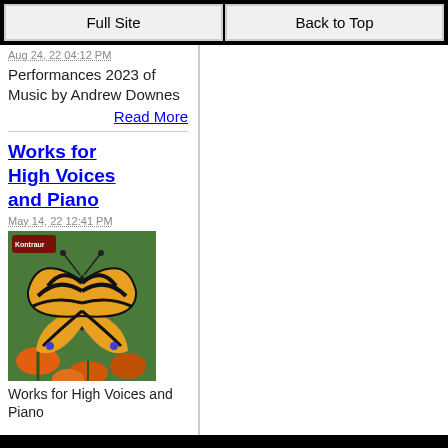Full Site | Back to Top
Aug 24, 22 04:12 PM
Performances 2023 of Music by Andrew Downes
Read More
Works for High Voices and Piano
May 14, 22 12:41 PM
[Figure (photo): Book cover with a tiger swallowtail butterfly on orange flowers, with a publisher logo at top left]
Works for High Voices and Piano